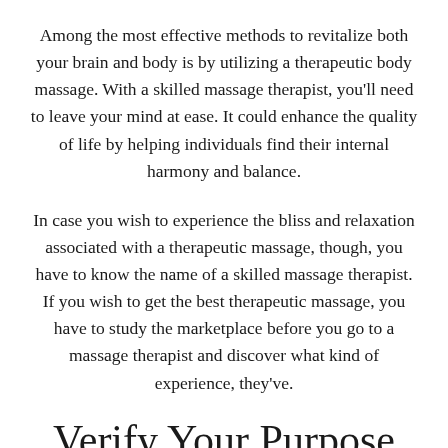Among the most effective methods to revitalize both your brain and body is by utilizing a therapeutic body massage. With a skilled massage therapist, you'll need to leave your mind at ease. It could enhance the quality of life by helping individuals find their internal harmony and balance.
In case you wish to experience the bliss and relaxation associated with a therapeutic massage, though, you have to know the name of a skilled massage therapist. If you wish to get the best therapeutic massage, you have to study the marketplace before you go to a massage therapist and discover what kind of experience, they've.
Verify Your Purpose First